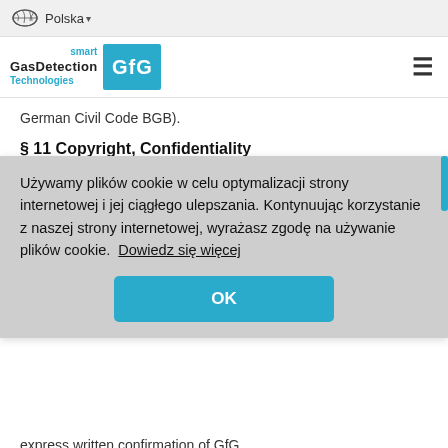Polska
[Figure (logo): GfG smart GasDetection Technologies logo with teal GfG letters in a blue box]
German Civil Code BGB).
§ 11 Copyright, Confidentiality
1. The company GfG shall retain all rights as to title
Używamy plików cookie w celu optymalizacji strony internetowej i jej ciągłego ulepszania. Kontynuując korzystanie z naszej strony internetowej, wyrażasz zgodę na używanie plików cookie.  Dowiedz się więcej
OK
express written confirmation of GfG.